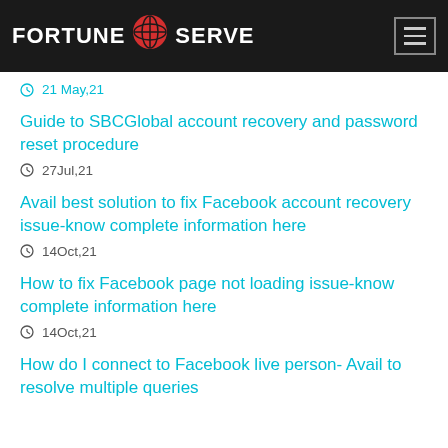FORTUNE SERVE
21 May,21
Guide to SBCGlobal account recovery and password reset procedure
27Jul,21
Avail best solution to fix Facebook account recovery issue-know complete information here
14Oct,21
How to fix Facebook page not loading issue-know complete information here
14Oct,21
How do I connect to Facebook live person- Avail to resolve multiple queries